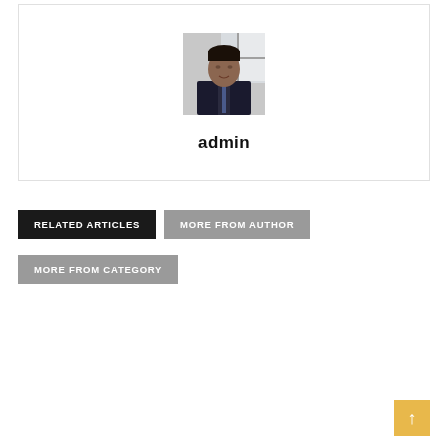[Figure (photo): Profile photo of admin user - man in dark suit with tie, standing indoors]
admin
RELATED ARTICLES
MORE FROM AUTHOR
MORE FROM CATEGORY